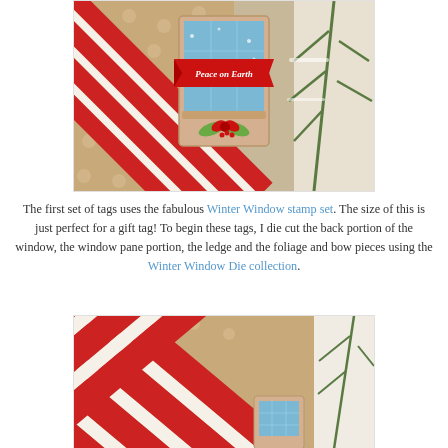[Figure (photo): Christmas gift tag craft photo: a window-shaped tag reading 'Peace on Earth' with a red bow and holly foliage, surrounded by polka-dot kraft paper gifts with red-and-white striped ribbon bows and evergreen branches.]
The first set of tags uses the fabulous Winter Window stamp set. The size of this is just perfect for a gift tag! To begin these tags, I die cut the back portion of the window, the window pane portion, the ledge and the foliage and bow pieces using the Winter Window Die collection.
[Figure (photo): Close-up photo of a polka-dot kraft paper gift wrapped with large red-and-white striped ribbon bows, with a small blue window-shaped gift tag partially visible and evergreen branches in the background.]